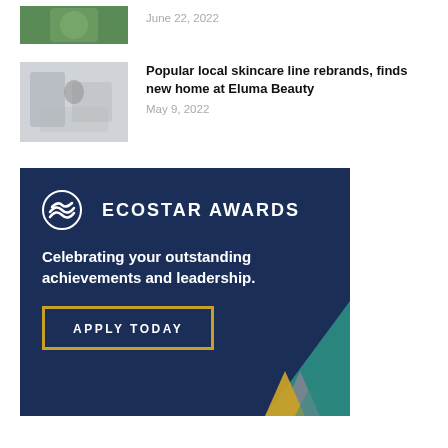June 22, 2022
[Figure (photo): Thumbnail photo of person outdoors with green background]
Popular local skincare line rebrands, finds new home at Eluma Beauty
May 9, 2022
[Figure (photo): Thumbnail photo of woman in industrial/lab setting]
[Figure (infographic): Ecostar Awards advertisement banner with dark blue background. Logo circle with wave icon, ECOSTAR AWARDS text, tagline 'Celebrating your outstanding achievements and leadership.', APPLY TODAY button with gold border, decorative triangles bottom right in teal, grey, and gold.]